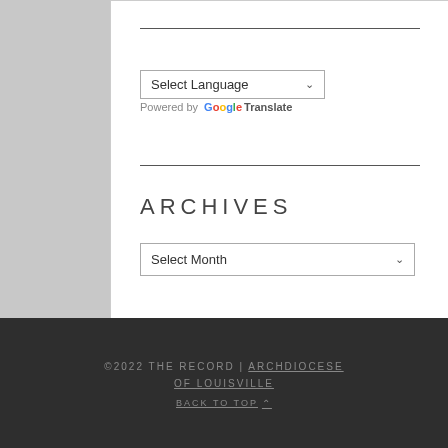[Figure (screenshot): Language select dropdown widget with 'Select Language' text and a chevron arrow]
Powered by Google Translate
ARCHIVES
[Figure (screenshot): Month select dropdown with 'Select Month' text and a chevron arrow]
©2022 THE RECORD | ARCHDIOCESE OF LOUISVILLE
BACK TO TOP ^